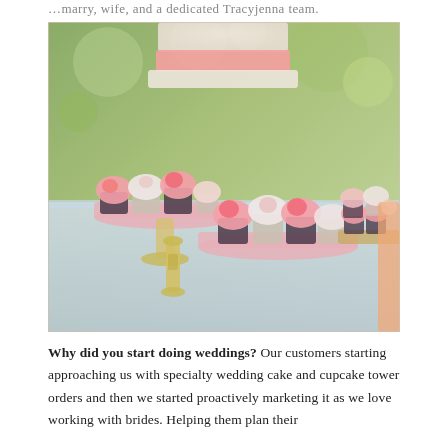…marry, wife, and a dedicated Tracyjenna team.
[Figure (photo): Wedding dessert table with pink-frosted cupcakes on pink cake stands and pedestals, a tiered white and pink wedding cake in the background, outdoor setting with bokeh greenery background.]
Why did you start doing weddings? Our customers starting approaching us with specialty wedding cake and cupcake tower orders and then we started proactively marketing it as we love working with brides. Helping them plan their